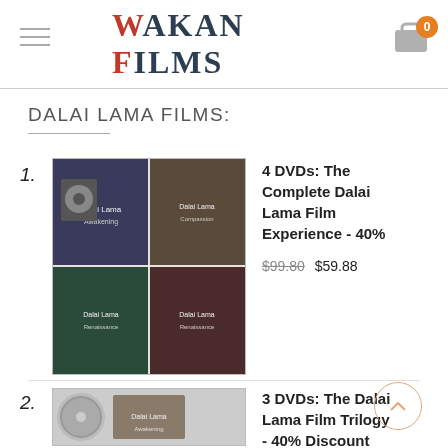WAKAN FILMS
DALAI LAMA FILMS:
1. 4 DVDs: The Complete Dalai Lama Film Experience - 40%  $99.80  $59.88
2. 3 DVDs: The Dalai Lama Film Trilogy - 40% Discount  $74.85  $44.91